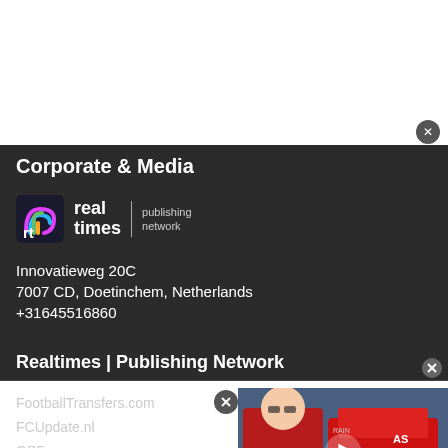Corporate & Media
[Figure (logo): Real Times publishing network logo with colourful 'rt' icon, bold wordmark 'real times', vertical divider, then 'publishing network']
Innovatieweg 20C
7007 CD, Doetinchem, Netherlands
+31645516860
Realtimes | Publishing Network
FootballTransfers.com
FCUpdate.nl
GPFans.com
MusicMeter.nl
[Figure (screenshot): Video thumbnail showing Ferrari F1 car and team principal in red jacket with text overlay 'FERRARI RESPOND TO']